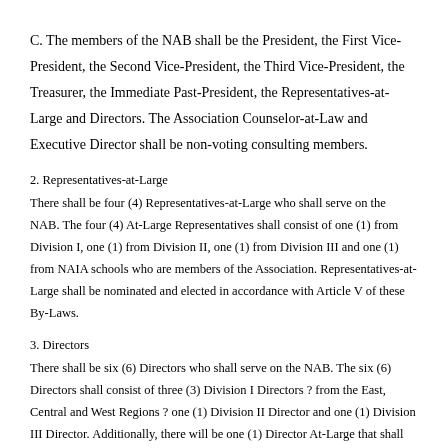C. The members of the NAB shall be the President, the First Vice-President, the Second Vice-President, the Third Vice-President, the Treasurer, the Immediate Past-President, the Representatives-at-Large and Directors. The Association Counselor-at-Law and Executive Director shall be non-voting consulting members.
2. Representatives-at-Large
There shall be four (4) Representatives-at-Large who shall serve on the NAB. The four (4) At-Large Representatives shall consist of one (1) from Division I, one (1) from Division II, one (1) from Division III and one (1) from NAIA schools who are members of the Association. Representatives-at-Large shall be nominated and elected in accordance with Article V of these By-Laws.
3. Directors
There shall be six (6) Directors who shall serve on the NAB. The six (6) Directors shall consist of three (3) Division I Directors ? from the East, Central and West Regions ? one (1) Division II Director and one (1) Division III Director. Additionally, there will be one (1) Director At-Large that shall be selected among any member in good standing. Directors shall be elected in accordance with Article V of these